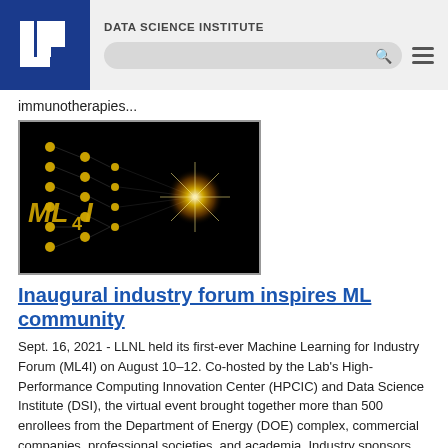DATA SCIENCE INSTITUTE
immunotherapies...
[Figure (photo): ML4I logo on black background showing neural network with golden/yellow nodes and glowing light, with text ML4I]
Inaugural industry forum inspires ML community
Sept. 16, 2021 - LLNL held its first-ever Machine Learning for Industry Forum (ML4I) on August 10–12. Co-hosted by the Lab's High-Performance Computing Innovation Center (HPCIC) and Data Science Institute (DSI), the virtual event brought together more than 500 enrollees from the Department of Energy (DOE) complex, commercial companies, professional societies, and academia. Industry sponsors included...